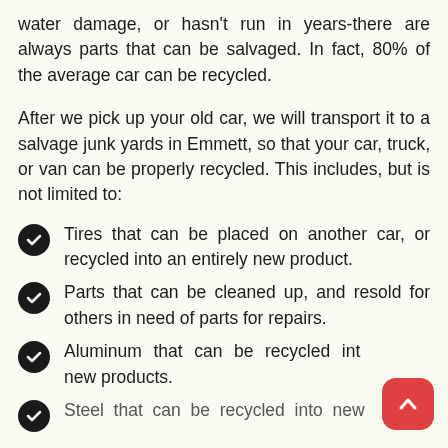water damage, or hasn't run in years-there are always parts that can be salvaged. In fact, 80% of the average car can be recycled.
After we pick up your old car, we will transport it to a salvage junk yards in Emmett, so that your car, truck, or van can be properly recycled. This includes, but is not limited to:
Tires that can be placed on another car, or recycled into an entirely new product.
Parts that can be cleaned up, and resold for others in need of parts for repairs.
Aluminum that can be recycled into new products.
Steel that can be recycled into new...